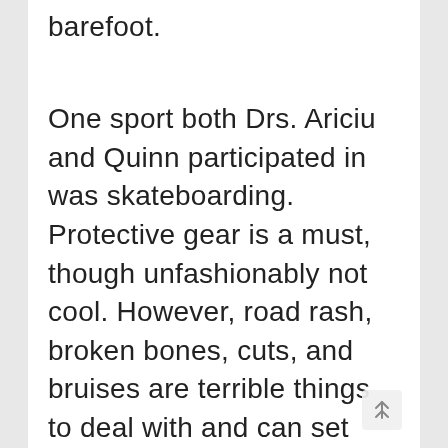barefoot.
One sport both Drs. Ariciu and Quinn participated in was skateboarding. Protective gear is a must, though unfashionably not cool. However, road rash, broken bones, cuts, and bruises are terrible things to deal with and can set your training back days, weeks, and even months. You don't want to have to sit back with a broken leg while your peers are having fun. Furthermore, concussions and brain injuries a no laughing matter either.